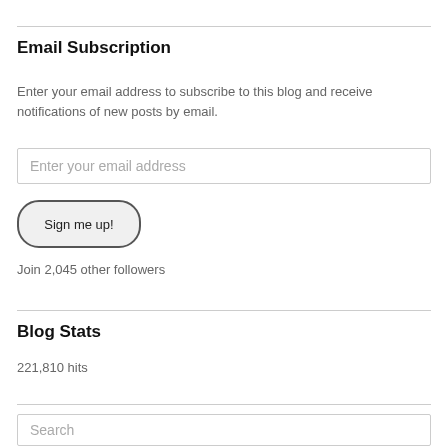Email Subscription
Enter your email address to subscribe to this blog and receive notifications of new posts by email.
Enter your email address
Sign me up!
Join 2,045 other followers
Blog Stats
221,810 hits
Search